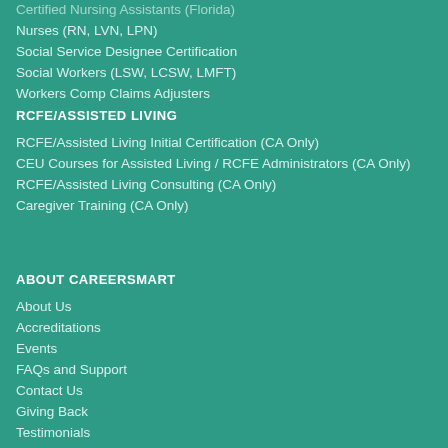Certified Nursing Assistants (Florida)
Nurses (RN, LVN, LPN)
Social Service Designee Certification
Social Workers (LSW, LCSW, LMFT)
Workers Comp Claims Adjusters
RCFE/ASSISTED LIVING
RCFE/Assisted Living Initial Certification (CA Only)
CEU Courses for Assisted Living / RCFE Administrators (CA Only)
RCFE/Assisted Living Consulting (CA Only)
Caregiver Training (CA Only)
ABOUT CAREERSMART
About Us
Accreditations
Events
FAQs and Support
Contact Us
Giving Back
Testimonials
Team